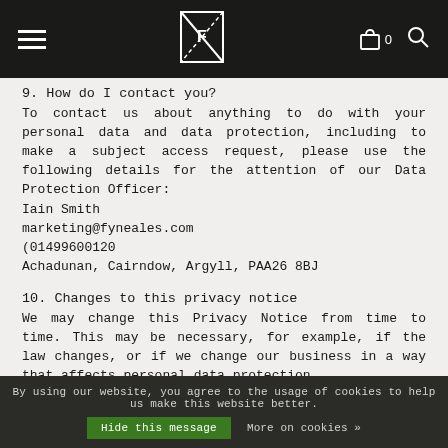Fyne Ales navigation bar with logo, bag (0), and search
9. How do I contact you?
To contact us about anything to do with your personal data and data protection, including to make a subject access request, please use the following details for the attention of our Data Protection Officer:
Iain Smith
marketing@fyneales.com
(01499600120
Achadunan, Cairndow, Argyll, PAA26 8BJ
10. Changes to this privacy notice
We may change this Privacy Notice from time to time. This may be necessary, for example, if the law changes, or if we change our business in a way that affects personal data protection.
For the purpose of the General Data Protection
By using our website, you agree to the usage of cookies to help us make this website better.   Hide this message   More on cookies »